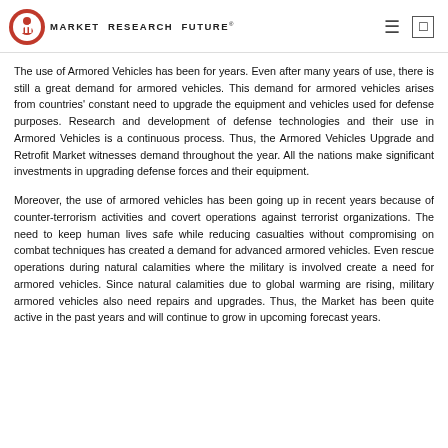MARKET RESEARCH FUTURE
The use of Armored Vehicles has been for years. Even after many years of use, there is still a great demand for armored vehicles. This demand for armored vehicles arises from countries' constant need to upgrade the equipment and vehicles used for defense purposes. Research and development of defense technologies and their use in Armored Vehicles is a continuous process. Thus, the Armored Vehicles Upgrade and Retrofit Market witnesses demand throughout the year. All the nations make significant investments in upgrading defense forces and their equipment.
Moreover, the use of armored vehicles has been going up in recent years because of counter-terrorism activities and covert operations against terrorist organizations. The need to keep human lives safe while reducing casualties without compromising on combat techniques has created a demand for advanced armored vehicles. Even rescue operations during natural calamities where the military is involved create a need for armored vehicles. Since natural calamities due to global warming are rising, military armored vehicles also need repairs and upgrades. Thus, the Market has been quite active in the past years and will continue to grow in upcoming forecast years.